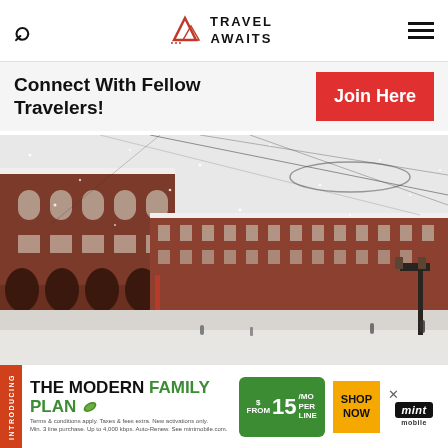Travel Awaits
Connect With Fellow Travelers!
Join Here
[Figure (photo): Snowy day at Plaza Mayor, Madrid, Spain — a wide historic red-brick building with arched colonnades surrounds a large open square in heavy snowfall. Decorative wire sculptures hang overhead. Street lamps visible on the right.]
INTRODUCING THE MODERN FAMILY PLAN $ 15 /MO FROM PER LINE SHOP NOW mint mobile